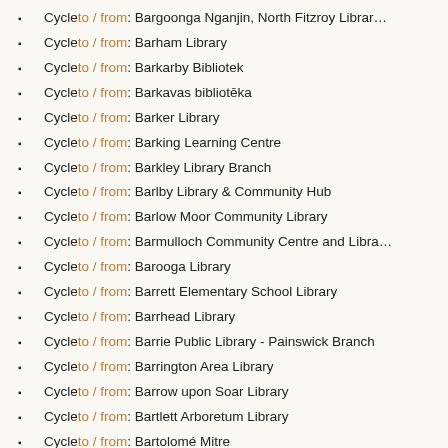Cycle to / from: Bargoonga Nganjin, North Fitzroy Library
Cycle to / from: Barham Library
Cycle to / from: Barkarby Bibliotek
Cycle to / from: Barkavas bibliotēka
Cycle to / from: Barker Library
Cycle to / from: Barking Learning Centre
Cycle to / from: Barkley Library Branch
Cycle to / from: Barlby Library & Community Hub
Cycle to / from: Barlow Moor Community Library
Cycle to / from: Barmulloch Community Centre and Library
Cycle to / from: Barooga Library
Cycle to / from: Barrett Elementary School Library
Cycle to / from: Barrhead Library
Cycle to / from: Barrie Public Library - Painswick Branch
Cycle to / from: Barrington Area Library
Cycle to / from: Barrow upon Soar Library
Cycle to / from: Bartlett Arboretum Library
Cycle to / from: Bartolomé Mitre
Cycle to / from: Barwon Health Library
Cycle to / from: Bascom Branch Library
Cycle to / from: Base Bordon Military and Public Library